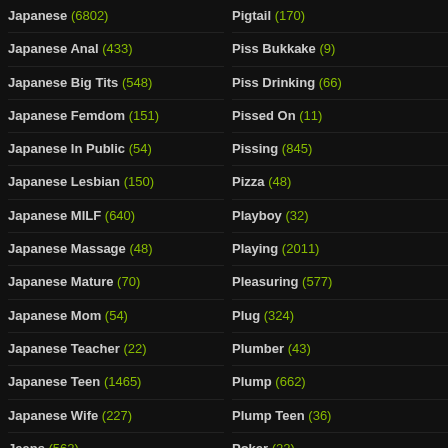Japanese (6802)
Japanese Anal (433)
Japanese Big Tits (548)
Japanese Femdom (151)
Japanese In Public (54)
Japanese Lesbian (150)
Japanese MILF (640)
Japanese Massage (48)
Japanese Mature (70)
Japanese Mom (54)
Japanese Teacher (22)
Japanese Teen (1465)
Japanese Wife (227)
Jeans (562)
Jerk Off Encouragement (73)
Pigtail (170)
Piss Bukkake (9)
Piss Drinking (66)
Pissed On (11)
Pissing (845)
Pizza (48)
Playboy (32)
Playing (2011)
Pleasuring (577)
Plug (324)
Plumber (43)
Plump (662)
Plump Teen (36)
Poker (22)
Pole Dance (52)